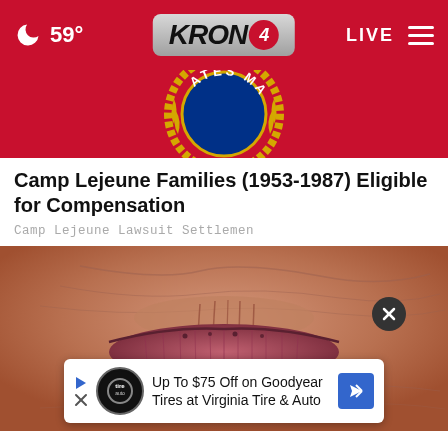59° KRON 4 LIVE
[Figure (photo): Partial US Marines Corps emblem on red background, showing text 'ATES MA' and laurel wreath]
Camp Lejeune Families (1953-1987) Eligible for Compensation
Camp Lejeune Lawsuit Settlemen
[Figure (photo): Extreme close-up of elderly person's lips and surrounding wrinkled skin]
Up To $75 Off on Goodyear Tires at Virginia Tire & Auto